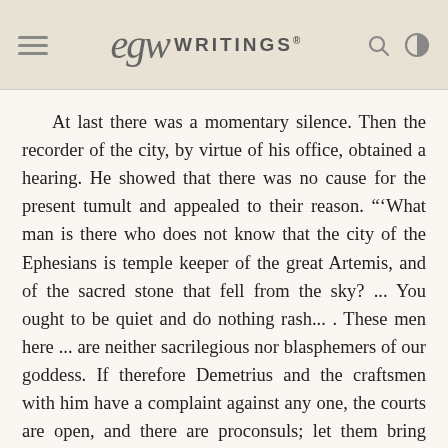EGW WRITINGS®
At last there was a momentary silence. Then the recorder of the city, by virtue of his office, obtained a hearing. He showed that there was no cause for the present tumult and appealed to their reason. "'What man is there who does not know that the city of the Ephesians is temple keeper of the great Artemis, and of the sacred stone that fell from the sky? ... You ought to be quiet and do nothing rash... . These men here ... are neither sacrilegious nor blasphemers of our goddess. If therefore Demetrius and the craftsmen with him have a complaint against any one, the courts are open, and there are proconsuls; let them bring charges against one another... . We are in danger of being charged with rioting today,